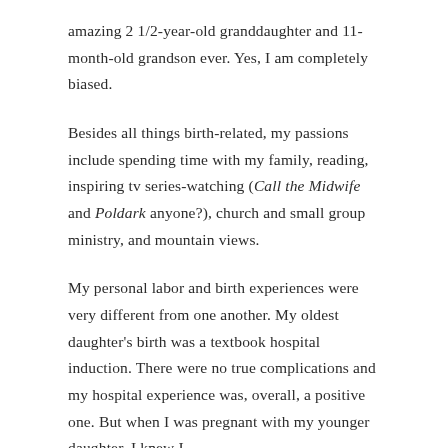amazing 2 1/2-year-old granddaughter and 11-month-old grandson ever. Yes, I am completely biased.
Besides all things birth-related, my passions include spending time with my family, reading, inspiring tv series-watching (Call the Midwife and Poldark anyone?), church and small group ministry, and mountain views.
My personal labor and birth experiences were very different from one another. My oldest daughter's birth was a textbook hospital induction. There were no true complications and my hospital experience was, overall, a positive one. But when I was pregnant with my younger daughter, I knew I